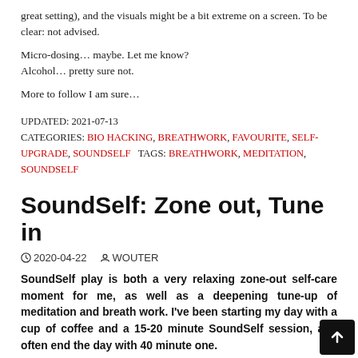great setting), and the visuals might be a bit extreme on a screen. To be clear: not advised.
Micro-dosing… maybe. Let me know?
Alcohol… pretty sure not.
More to follow I am sure…
UPDATED: 2021-07-13
CATEGORIES: BIO HACKING, BREATHWORK, FAVOURITE, SELF-UPGRADE, SOUNDSELF   TAGS: BREATHWORK, MEDITATION, SOUNDSELF
SoundSelf: Zone out, Tune in
2020-04-22  WOUTER
SoundSelf play is both a very relaxing zone-out self-care moment for me, as well as a deepening tune-up of meditation and breath work. I've been starting my day with a cup of coffee and a 15-20 minute SoundSelf session, and often end the day with 40 minute one.